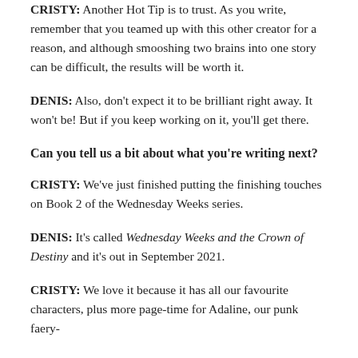CRISTY: Another Hot Tip is to trust. As you write, remember that you teamed up with this other creator for a reason, and although smooshing two brains into one story can be difficult, the results will be worth it.
DENIS: Also, don't expect it to be brilliant right away. It won't be! But if you keep working on it, you'll get there.
Can you tell us a bit about what you're writing next?
CRISTY: We've just finished putting the finishing touches on Book 2 of the Wednesday Weeks series.
DENIS: It's called Wednesday Weeks and the Crown of Destiny and it's out in September 2021.
CRISTY: We love it because it has all our favourite characters, plus more page-time for Adaline, our punk faery-